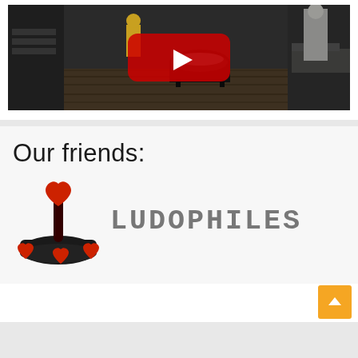[Figure (screenshot): YouTube video thumbnail showing a dark game scene with a character in yellow/orange outfit near a large black cauldron, with a play button overlay. The scene appears to be from a video game with dark atmospheric indoor setting.]
Our friends:
[Figure (logo): Ludophiles logo consisting of a retro joystick with red heart-shaped top and red heart buttons on the base, next to the text LUDOPHILES in blocky gray uppercase letters]